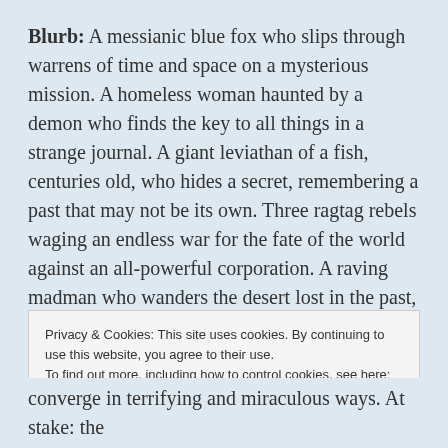Blurb: A messianic blue fox who slips through warrens of time and space on a mysterious mission. A homeless woman haunted by a demon who finds the key to all things in a strange journal. A giant leviathan of a fish, centuries old, who hides a secret, remembering a past that may not be its own. Three ragtag rebels waging an endless war for the fate of the world against an all-powerful corporation. A raving madman who wanders the desert lost in the past, haunted by his own creation: an invisible monster whose name he has forgotten and whose purpose remains hidden.
Privacy & Cookies: This site uses cookies. By continuing to use this website, you agree to their use.
To find out more, including how to control cookies, see here: Cookie Policy
converge in terrifying and miraculous ways. At stake: the